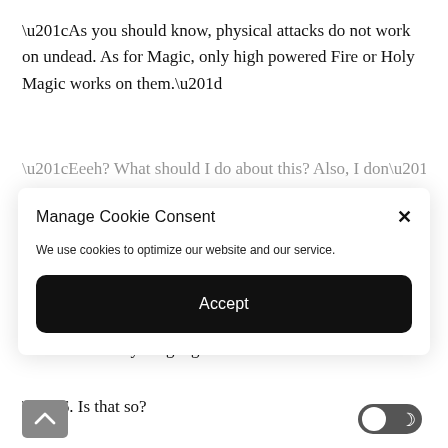“As you should know, physical attacks do not work on undead. As for Magic, only high powered Fire or Holy Magic works on them.”
“Eeeh? What should I do about this? Also, I don’t think Holy
Manage Cookie Consent
We use cookies to optimize our website and our service.
Accept
Magic. By the way, most Heroes from another world would have Holy Magic granted to them.”
…. Is that so?